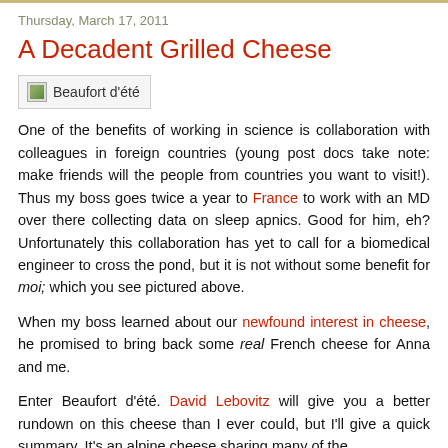Thursday, March 17, 2011
A Decadent Grilled Cheese
[Figure (photo): Broken image placeholder labeled 'Beaufort d'été']
One of the benefits of working in science is collaboration with colleagues in foreign countries (young post docs take note: make friends will the people from countries you want to visit!). Thus my boss goes twice a year to France to work with an MD over there collecting data on sleep apnics. Good for him, eh? Unfortunately this collaboration has yet to call for a biomedical engineer to cross the pond, but it is not without some benefit for moi; which you see pictured above.
When my boss learned about our newfound interest in cheese, he promised to bring back some real French cheese for Anna and me.
Enter Beaufort d'été. David Lebovitz will give you a better rundown on this cheese than I ever could, but I'll give a quick summary. It's an alpine cheese sharing many of the